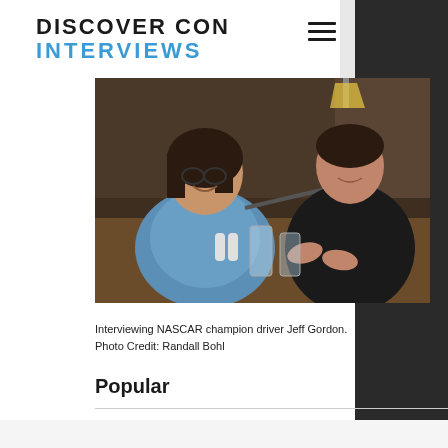DISCOVER CON INTERVIEWS
[Figure (photo): Two people seated at a table in a restaurant setting. A woman on the left with glasses holds a microphone toward a man on the right wearing a black polo shirt, who is speaking and gesturing with his hands.]
Interviewing NASCAR champion driver Jeff Gordon. Photo Credit: Randall Bohl
Popular